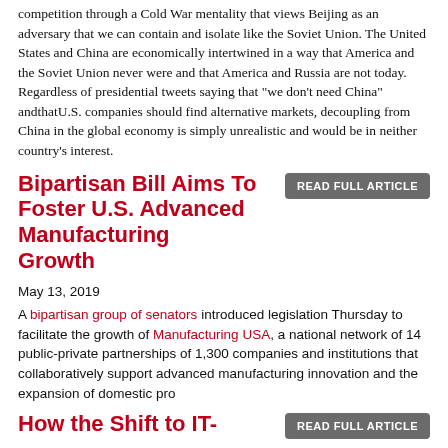competition through a Cold War mentality that views Beijing as an adversary that we can contain and isolate like the Soviet Union. The United States and China are economically intertwined in a way that America and the Soviet Union never were and that America and Russia are not today. Regardless of presidential tweets saying that "we don't need China" andthatU.S. companies should find alternative markets, decoupling from China in the global economy is simply unrealistic and would be in neither country's interest.
Bipartisan Bill Aims To Foster U.S. Advanced Manufacturing Growth
READ FULL ARTICLE
May 13, 2019
A bipartisan group of senators introduced legislation Thursday to facilitate the growth of Manufacturing USA, a national network of 14 public-private partnerships of 1,300 companies and institutions that collaboratively support advanced manufacturing innovation and the expansion of domestic pro
How the Shift to IT-
READ FULL ARTICLE